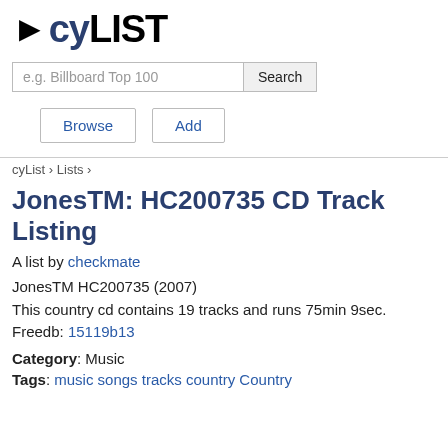▶cyLIST
e.g. Billboard Top 100 [Search]
Browse | Add
cyList › Lists ›
JonesTM: HC200735 CD Track Listing
A list by checkmate
JonesTM HC200735 (2007)
This country cd contains 19 tracks and runs 75min 9sec.
Freedb: 15119b13
Category: Music
Tags: music songs tracks country Country